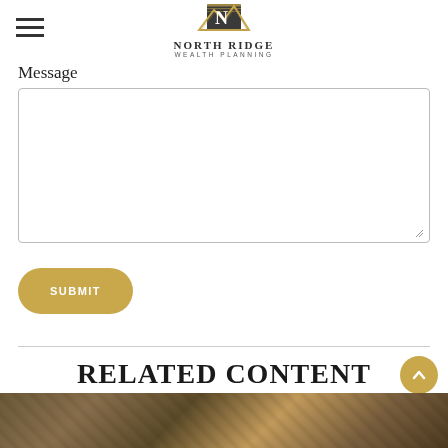[Figure (logo): North Ridge Wealth Planning logo with golden N and mountain peaks graphic above the company name]
Message
[Figure (screenshot): Empty message text area input box with resize handle]
[Figure (other): Gold rounded submit button with white uppercase text SUBMIT]
RELATED CONTENT
[Figure (photo): Partial image of intertwined branches or ropes in brown/gold tones at bottom of page]